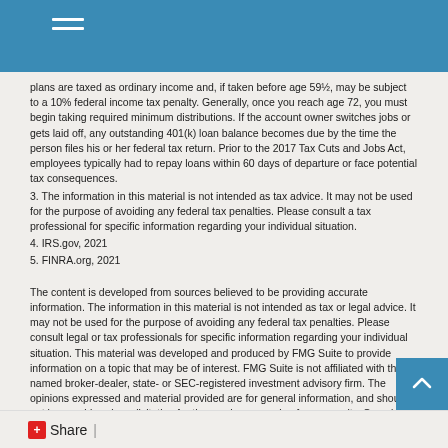plans are taxed as ordinary income and, if taken before age 59½, may be subject to a 10% federal income tax penalty. Generally, once you reach age 72, you must begin taking required minimum distributions. If the account owner switches jobs or gets laid off, any outstanding 401(k) loan balance becomes due by the time the person files his or her federal tax return. Prior to the 2017 Tax Cuts and Jobs Act, employees typically had to repay loans within 60 days of departure or face potential tax consequences.
3. The information in this material is not intended as tax advice. It may not be used for the purpose of avoiding any federal tax penalties. Please consult a tax professional for specific information regarding your individual situation.
4. IRS.gov, 2021
5. FINRA.org, 2021
The content is developed from sources believed to be providing accurate information. The information in this material is not intended as tax or legal advice. It may not be used for the purpose of avoiding any federal tax penalties. Please consult legal or tax professionals for specific information regarding your individual situation. This material was developed and produced by FMG Suite to provide information on a topic that may be of interest. FMG Suite is not affiliated with the named broker-dealer, state- or SEC-registered investment advisory firm. The opinions expressed and material provided are for general information, and should not be considered a solicitation for the purchase or sale of any security. Copyright 2022 FMG Suite.
Share |